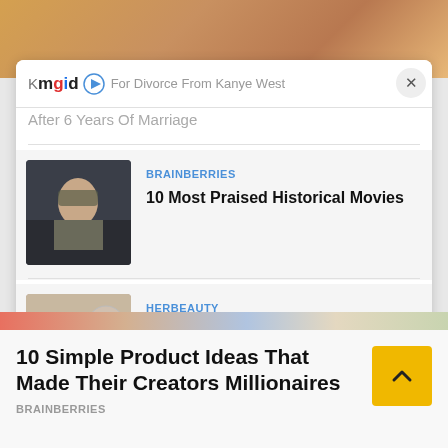[Figure (screenshot): Top portion of a webpage showing a person in a yellow/orange sweater, partially visible]
mgid ▶ For Divorce From Kanye West After 6 Years Of Marriage
[Figure (photo): Young man in military uniform looking forward, from what appears to be a WWII film scene]
BRAINBERRIES
10 Most Praised Historical Movies
[Figure (photo): Hands applying cream or lotion to skin, with a jar visible]
HERBEAUTY
I'm Telling You, This Got Rid Of My Strawberry Legs In 3 Days
10 Simple Product Ideas That Made Their Creators Millionaires
BRAINBERRIES